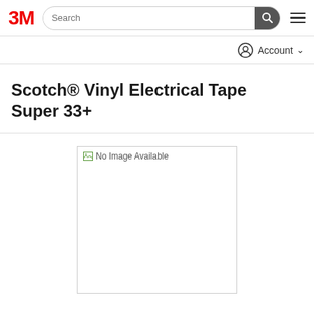3M | Search | Account
Scotch® Vinyl Electrical Tape Super 33+
[Figure (photo): No Image Available placeholder box]